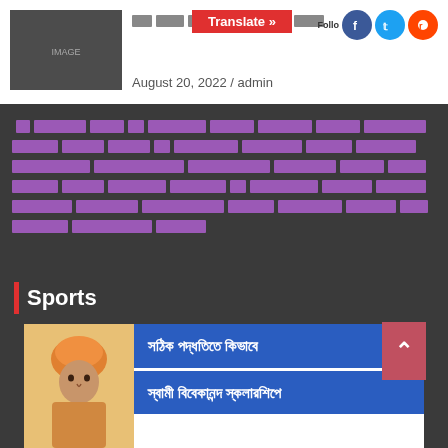[Figure (screenshot): News article card with thumbnail image on left, translate button overlaid on title text, social media follow icons (Facebook, Twitter, Reddit), and date/author meta]
August 20, 2022 / admin
Bengali/placeholder body text paragraph in purple color describing article content
Sports
[Figure (screenshot): Article card with Swami Vivekananda portrait on left and two blue title bars in Bengali on right reading 'সঠিক পদ্ধতিতে কিভাবে' and 'স্বামী বিবেকানন্দ স্কলারশিপে']